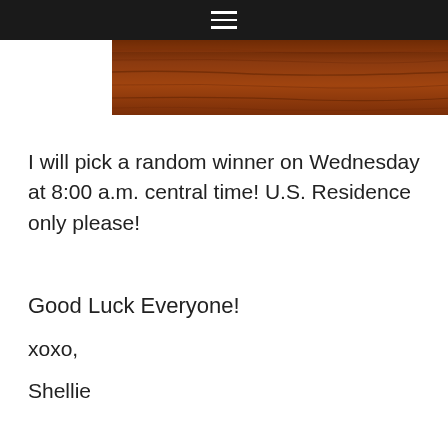≡
[Figure (photo): Partial cropped photo of a wooden surface with warm brown/reddish wood grain texture, visible at the top of the page.]
I will pick a random winner on Wednesday at 8:00 a.m. central time! U.S. Residence only please!
Good Luck Everyone!
xoxo,
Shellie
P.S. These are promotional sunglasses therefore we cannot guarantee the UVA or